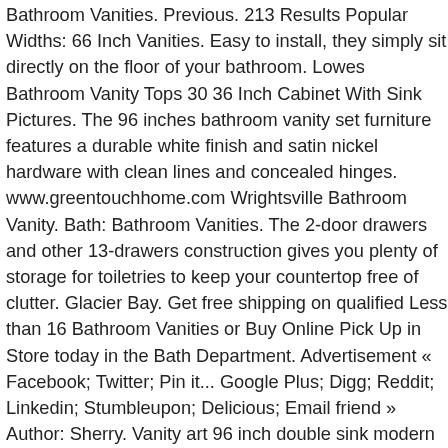Bathroom Vanities. Previous. 213 Results Popular Widths: 66 Inch Vanities. Easy to install, they simply sit directly on the floor of your bathroom. Lowes Bathroom Vanity Tops 30 36 Inch Cabinet With Sink Pictures. The 96 inches bathroom vanity set furniture features a durable white finish and satin nickel hardware with clean lines and concealed hinges. www.greentouchhome.com Wrightsville Bathroom Vanity. Bath: Bathroom Vanities. The 2-door drawers and other 13-drawers construction gives you plenty of storage for toiletries to keep your countertop free of clutter. Glacier Bay. Get free shipping on qualified Less than 16 Bathroom Vanities or Buy Online Pick Up in Store today in the Bath Department. Advertisement « Facebook; Twitter; Pin it... Google Plus; Digg; Reddit; Linkedin; Stumbleupon; Delicious; Email friend » Author: Sherry. Vanity art 96 inch double sink modern double vanities rh bathroom vanities without tops 96 inch bathroom vanity innovative wicker her in